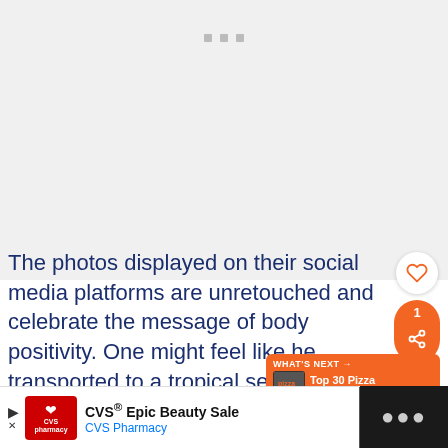[Figure (photo): Placeholder/loading image area with three small grey squares visible at top center, light grey background]
The photos displayed on their social media platforms are unretouched and celebrate the message of body positivity. One might feel like he transported to a tropical sea beach
[Figure (other): CVS Epic Beauty Sale advertisement banner with CVS Pharmacy logo, navigation arrow icon, and dark bar with menu dots on right]
[Figure (other): What's Next panel: Top 30 Pizza Brands to... with orange background]
[Figure (other): Heart (like) button and share button with count 1 in orange]